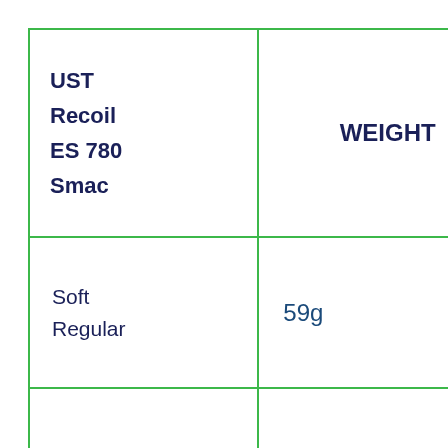| UST Recoil ES 780 Smac | WEIGHT |
| --- | --- |
| Soft Regular | 59g |
| Regular | 73g |
| Stiff | 78g |